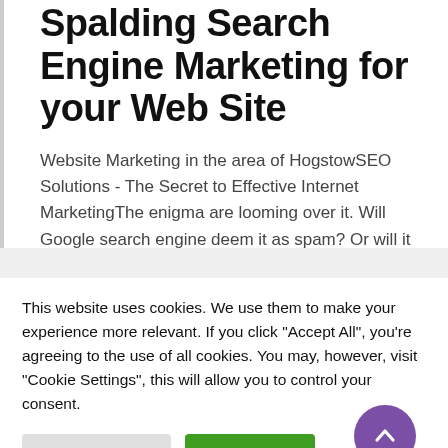Spalding Search Engine Marketing for your Web Site
Website Marketing in the area of HogstowSEO Solutions - The Secret to Effective Internet MarketingThe enigma are looming over it. Will Google search engine deem it as spam? Or will it be contributed to the SERP? After
This website uses cookies. We use them to make your experience more relevant. If you click "Accept All", you're agreeing to the use of all cookies. You may, however, visit "Cookie Settings", this will allow you to control your consent.